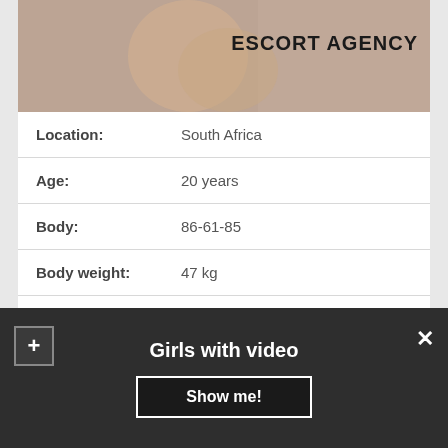[Figure (photo): Top banner image showing escort agency, with bold text ESCORT AGENCY on the right side]
| Location: | South Africa |
| Age: | 20 years |
| Body: | 86-61-85 |
| Body weight: | 47 kg |
| Availability: | 11:00 – 21:00 |
| Gangbang: | +60$ |
| Services: | Massage Thai, Anal Play☺, Disabled Clients |
| Outcall: | No |
Girls with video
Show me!